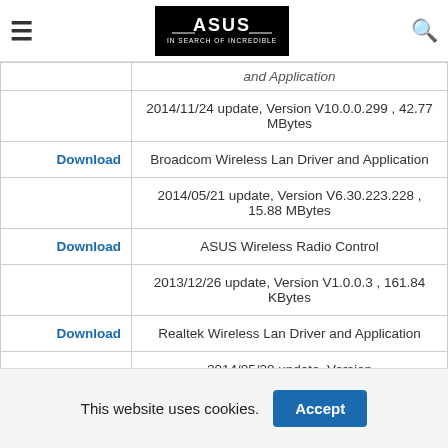[Figure (logo): ASUS logo - IN SEARCH OF INCREDIBLE on black background]
| Action | Description |
| --- | --- |
|  | and Application (partial) |
|  | 2014/11/24 update, Version V10.0.0.299 , 42.77 MBytes |
| Download | Broadcom Wireless Lan Driver and Application |
|  | 2014/05/21 update, Version V6.30.223.228 , 15.88 MBytes |
| Download | ASUS Wireless Radio Control |
|  | 2013/12/26 update, Version V1.0.0.3 , 161.84 KBytes |
| Download | Realtek Wireless Lan Driver and Application |
|  | 2014/05/28 update, Version V2012.14.0417.2014 , 41.2 MBytes |
This website uses cookies.